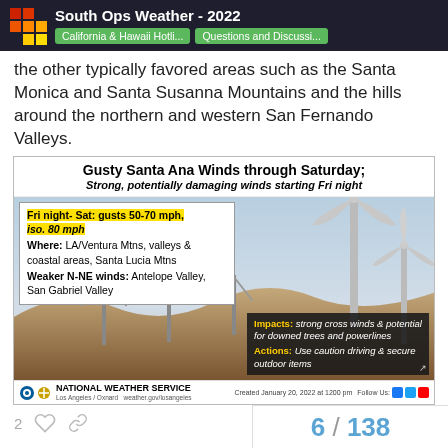South Ops Weather - 2022 | California & Hawaii Hotli... | Questions and Discussi...
the other typically favored areas such as the Santa Monica and Santa Susanna Mountains and the hills around the northern and western San Fernando Valleys.
[Figure (infographic): National Weather Service infographic about Gusty Santa Ana Winds through Saturday. Main title: Gusty Santa Ana Winds through Saturday; Strong, potentially damaging winds starting Fri night. Left info box: Fri night- Sat: gusts 50-70 mph, iso. 80 mph. Where: LA/Ventura Mtns, valleys & coastal areas, Santa Lucia Mtns. Weaker N-NE winds: Antelope Valley, San Gabriel Valley. Background shows wind turbines on hillside. Impacts box: Impacts: strong cross winds & potential for downed trees and powerlines. Actions: Use caution driving & secure outdoor items. NWS footer: National Weather Service, Los Angeles/Oxnard, weather.gov/losangeles, Created January 20, 2022 at 1200 pm, Follow Us social icons.]
2 likes
6 / 138